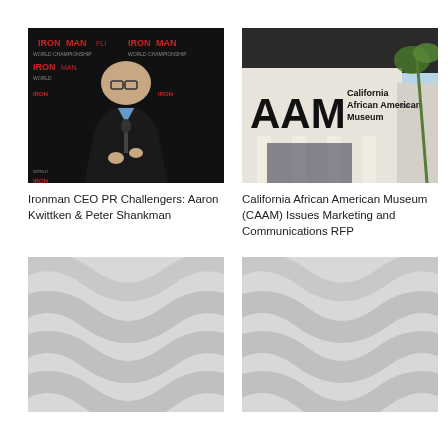[Figure (photo): Man at podium with IRONMAN World Championship backdrop]
Ironman CEO PR Challengers: Aaron Kwittken & Peter Shankman
[Figure (photo): California African American Museum building exterior with AAM signage]
California African American Museum (CAAM) Issues Marketing and Communications RFP
[Figure (photo): Placeholder image with diagonal wave pattern]
[Figure (photo): Placeholder image with diagonal wave pattern]